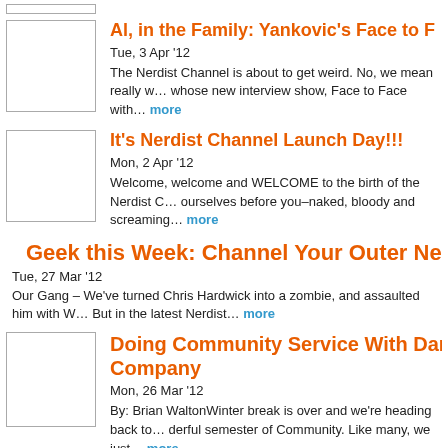[Figure (photo): Thumbnail image placeholder (top, partially visible)]
Al, in the Family: Yankovic's Face to F
Tue, 3 Apr '12
The Nerdist Channel is about to get weird. No, we mean really w… whose new interview show, Face to Face with… more
[Figure (photo): Thumbnail image placeholder]
It's Nerdist Channel Launch Day!!!
Mon, 2 Apr '12
Welcome, welcome and WELCOME to the birth of the Nerdist C… ourselves before you–naked, bloody and screaming… more
Geek this Week: Channel Your Outer Nerdist
Tue, 27 Mar '12
Our Gang – We've turned Chris Hardwick into a zombie, and assaulted him with W… But in the latest Nerdist… more
[Figure (photo): Thumbnail image placeholder]
Doing Community Service With Dan H… Company
Mon, 26 Mar '12
By: Brian WaltonWinter break is over and we're heading back to… derful semester of Community. Like many, we just… more
[Figure (photo): Thumbnail image placeholder (bottom, partially visible)]
Act, Act, Revelation: Jason Trost on C… Starring in The FR…